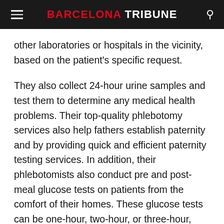BARCELONA TRIBUNE
other laboratories or hospitals in the vicinity, based on the patient's specific request.
They also collect 24-hour urine samples and test them to determine any medical health problems. Their top-quality phlebotomy services also help fathers establish paternity and by providing quick and efficient paternity testing services. In addition, their phlebotomists also conduct pre and post-meal glucose tests on patients from the comfort of their homes. These glucose tests can be one-hour, two-hour, or three-hour, based on the patient's condition and the doctor's prescription.
Another service that sets Phlebotomy On Wheels apart from other mobile phlebotomy services is their at-home DIY test